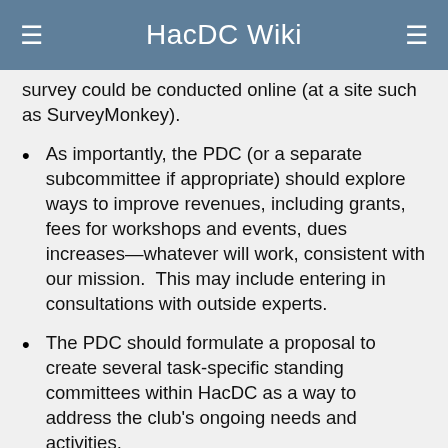HacDC Wiki
survey could be conducted online (at a site such as SurveyMonkey).
As importantly, the PDC (or a separate subcommittee if appropriate) should explore ways to improve revenues, including grants, fees for workshops and events, dues increases—whatever will work, consistent with our mission.  This may include entering in consultations with outside experts.
The PDC should formulate a proposal to create several task-specific standing committees within HacDC as a way to address the club's ongoing needs and activities.
Standing committees would allow for focused attention to ongoing concerns while providing for continuity across terms of the board and the changing commitments of club